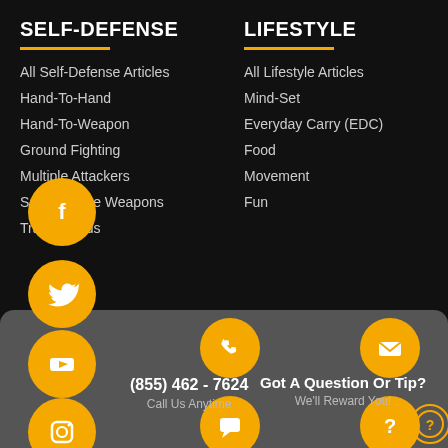SELF-DEFENSE
All Self-Defense Articles
Hand-To-Hand
Hand-To-Weapon
Ground Fighting
Multiple Attackers
Self-Defense Weapons
Training Aids
LIFESTYLE
All Lifestyle Articles
Mind-Set
Everyday Carry (EDC)
Food
Movement
Fun
(855) 462 - 7624
Call Us Anytime
Got A Question Or Tip?
We'll Reward You!